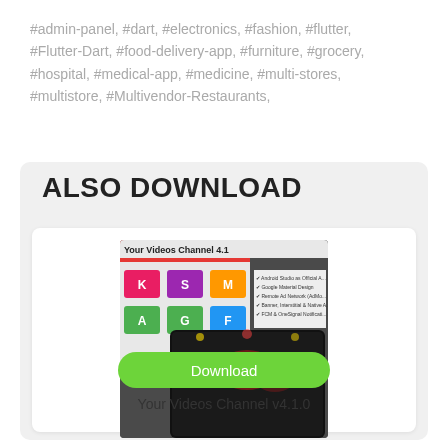#admin-panel, #dart, #electronics, #fashion, #flutter, #Flutter-Dart, #food-delivery-app, #furniture, #grocery, #hospital, #medical-app, #medicine, #multi-stores, #multistore, #Multivendor-Restaurants,
ALSO DOWNLOAD
[Figure (screenshot): App screenshot showing 'Your Videos Channel 4.1' with colorful category tiles (K, S, M, A, G, F) and a phone displaying a concert video, along with feature checklist bullets]
Download
Your Videos Channel v4.1.0